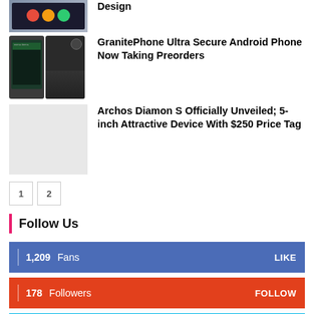[Figure (photo): Partial smartphone screenshot at top]
GranitePhone Ultra Secure Android Phone Now Taking Preorders
[Figure (photo): Two GranitePhone handsets side by side]
Archos Diamon S Officially Unveiled; 5-inch Attractive Device With $250 Price Tag
1
2
Follow Us
1,209  Fans  LIKE
178  Followers  FOLLOW
748  Followers  FOLLOW